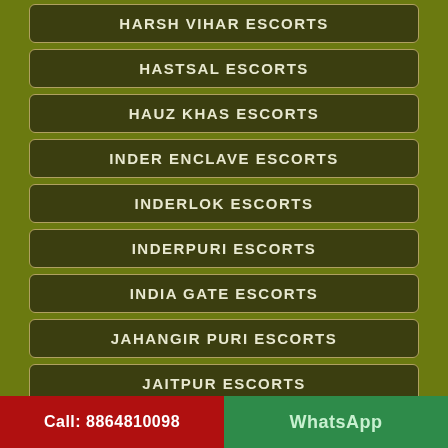HARSH VIHAR ESCORTS
HASTSAL ESCORTS
HAUZ KHAS ESCORTS
INDER ENCLAVE ESCORTS
INDERLOK ESCORTS
INDERPURI ESCORTS
INDIA GATE ESCORTS
JAHANGIR PURI ESCORTS
JAITPUR ESCORTS
JAMIA NAGAR ESCORTS
JANAKPURI ESCORTS
Call: 8864810098   WhatsApp